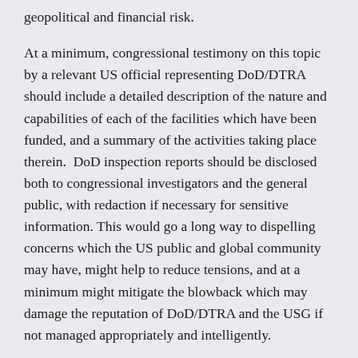geopolitical and financial risk.
At a minimum, congressional testimony on this topic by a relevant US official representing DoD/DTRA should include a detailed description of the nature and capabilities of each of the facilities which have been funded, and a summary of the activities taking place therein.  DoD inspection reports should be disclosed both to congressional investigators and the general public, with redaction if necessary for sensitive information. This would go a long way to dispelling concerns which the US public and global community may have, might help to reduce tensions, and at a minimum might mitigate the blowback which may damage the reputation of DoD/DTRA and the USG if not managed appropriately and intelligently.